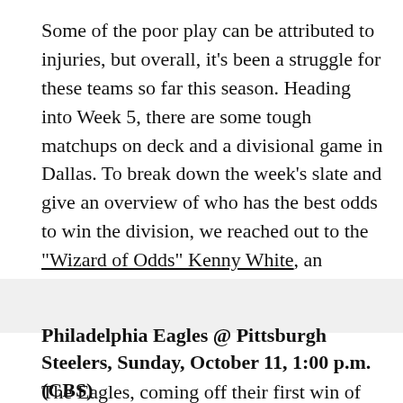Some of the poor play can be attributed to injuries, but overall, it's been a struggle for these teams so far this season. Heading into Week 5, there are some tough matchups on deck and a divisional game in Dallas. To break down the week's slate and give an overview of who has the best odds to win the division, we reached out to the "Wizard of Odds" Kenny White, an analyst with SportsLine.
Philadelphia Eagles @ Pittsburgh Steelers, Sunday, October 11, 1:00 p.m. (CBS)
The Eagles, coming off their first win of the season last week against the San Francisco 49ers, draw a difficult matchup as they go across the Keystone state...